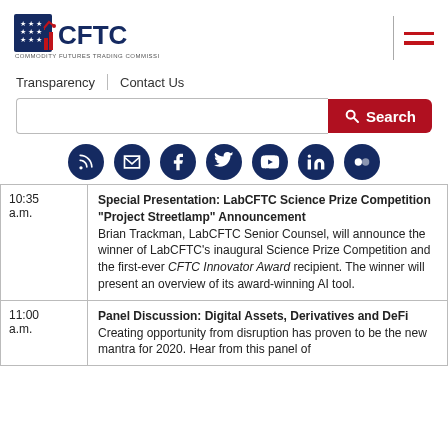[Figure (logo): CFTC - Commodity Futures Trading Commission logo]
[Figure (other): Hamburger menu icon with vertical divider line and two red horizontal bars]
Transparency | Contact Us
[Figure (other): Search bar with red Search button]
[Figure (other): Social media icons row: RSS, Email, Facebook, Twitter, YouTube, LinkedIn, Flickr]
| Time | Event |
| --- | --- |
| 10:35 a.m. | Special Presentation: LabCFTC Science Prize Competition “Project Streetlamp” Announcement
Brian Trackman, LabCFTC Senior Counsel, will announce the winner of LabCFTC’s inaugural Science Prize Competition and the first-ever CFTC Innovator Award recipient. The winner will present an overview of its award-winning AI tool. |
| 11:00 a.m. | Panel Discussion: Digital Assets, Derivatives and DeFi
Creating opportunity from disruption has proven to be the new mantra for 2020. Hear from this panel of |